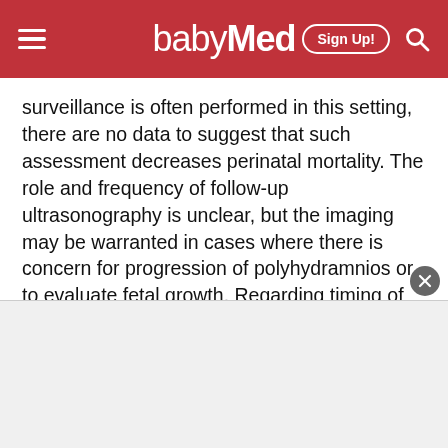babyMed — Sign Up!
surveillance is often performed in this setting, there are no data to suggest that such assessment decreases perinatal mortality. The role and frequency of follow-up ultrasonography is unclear, but the imaging may be warranted in cases where there is concern for progression of polyhydramnios or to evaluate fetal growth. Regarding timing of delivery, there are no data to suggest that induction of labor or PTB are associated with an improved outcome in the